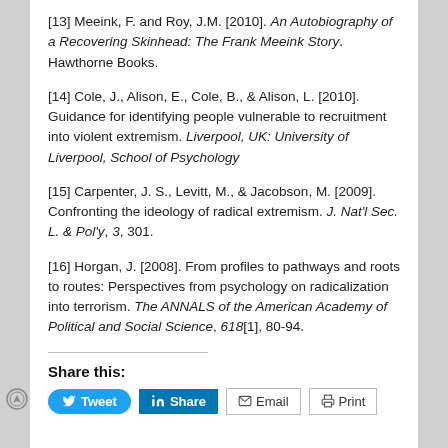[13] Meeink, F. and Roy, J.M. [2010]. An Autobiography of a Recovering Skinhead: The Frank Meeink Story. Hawthorne Books.
[14] Cole, J., Alison, E., Cole, B., & Alison, L. [2010]. Guidance for identifying people vulnerable to recruitment into violent extremism. Liverpool, UK: University of Liverpool, School of Psychology
[15] Carpenter, J. S., Levitt, M., & Jacobson, M. [2009]. Confronting the ideology of radical extremism. J. Nat'l Sec. L. & Pol'y, 3, 301.
[16] Horgan, J. [2008]. From profiles to pathways and roots to routes: Perspectives from psychology on radicalization into terrorism. The ANNALS of the American Academy of Political and Social Science, 618[1], 80-94.
Share this:
Tweet | Share | Email | Print